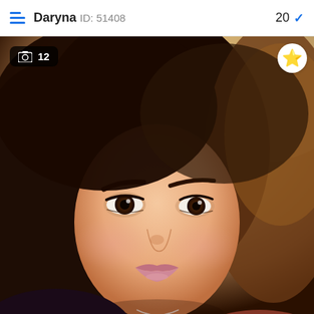Daryna ID: 51408  20 ✓
[Figure (photo): Close-up portrait selfie of a young woman named Daryna (ID: 51408), approximately 20 years old, with dark hair, brown eyes, and light makeup. She is wearing a floral top and a necklace, photographed in warm natural light.]
📷 12
⭐